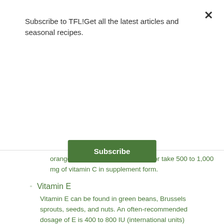Subscribe to TFL!Get all the latest articles and seasonal recipes.
Subscribe
oranges, asparagus, and broccoli, or take 500 to 1,000 mg of vitamin C in supplement form.
Vitamin E
Vitamin E can be found in green beans, Brussels sprouts, seeds, and nuts. An often-recommended dosage of E is 400 to 800 IU (international units) per day in supplement form.
Foods
Studies indicate that these foods may help in the battle against joint pain: